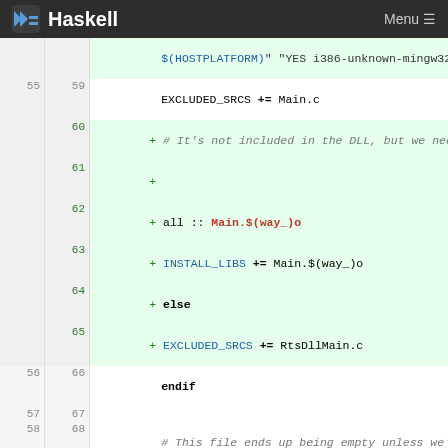Haskell | Menu
[Figure (screenshot): Code diff view showing changes to a Haskell/Makefile build script, with line numbers, added lines (green), removed lines (red), and context lines.]